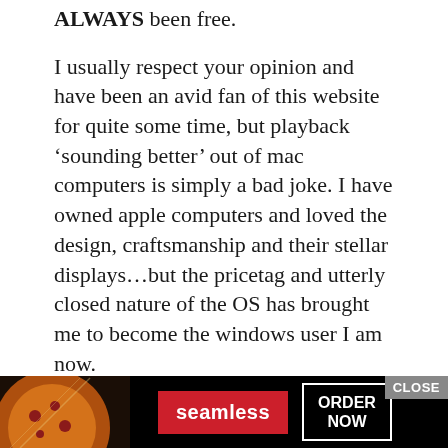ALWAYS been free.
I usually respect your opinion and have been an avid fan of this website for quite some time, but playback ‘sounding better’ out of mac computers is simply a bad joke. I have owned apple computers and loved the design, craftsmanship and their stellar displays…but the pricetag and utterly closed nature of the OS has brought me to become the windows user I am now.
PUREMUSIC was a very popular audiophile product for mac users that provided bit-perfect playback… however they charged the ludicrous rate of $130. it is nice that apple users now have a cheaper
[Figure (screenshot): Advertisement banner for Seamless food delivery. Shows pizza image on left, red Seamless logo button in center, and white-bordered ORDER NOW button on right. A CLOSE button appears at top right of the ad. Black background.]